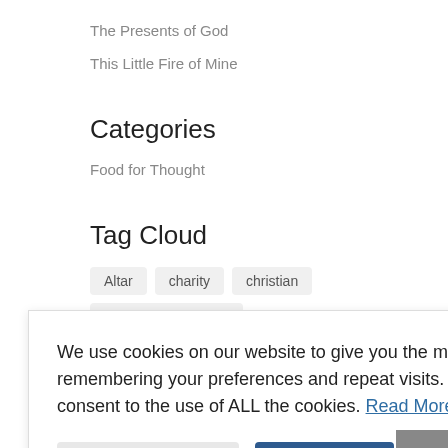The Presents of God
This Little Fire of Mine
Categories
Food for Thought
Tag Cloud
Altar
charity
christian
Church conferences
Fire of God
d Testament
God
alth
We use cookies on our website to give you the most relevant experience by remembering your preferences and repeat visits. By clicking “Accept”, you consent to the use of ALL the cookies. Read More
Cookie Settings
Accept